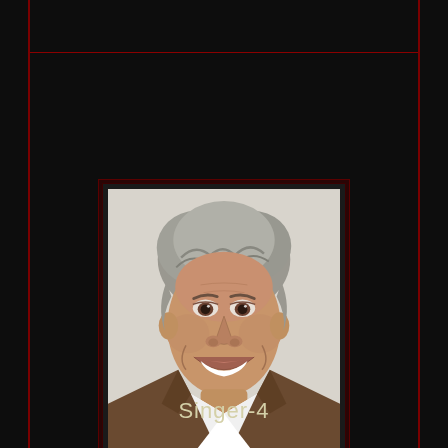[Figure (photo): Headshot portrait of an older smiling man with gray wavy hair, wearing a white shirt and brown blazer, photographed against a light background. Framed with dark border on black background.]
Singer-4